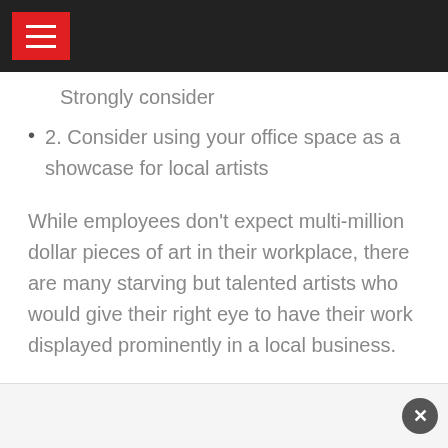Strongly consider
2. Consider using your office space as a showcase for local artists
While employees don't expect multi-million dollar pieces of art in their workplace, there are many starving but talented artists who would give their right eye to have their work displayed prominently in a local business.
With diverse but tasteful art, you create a showcase work environment and a great place to